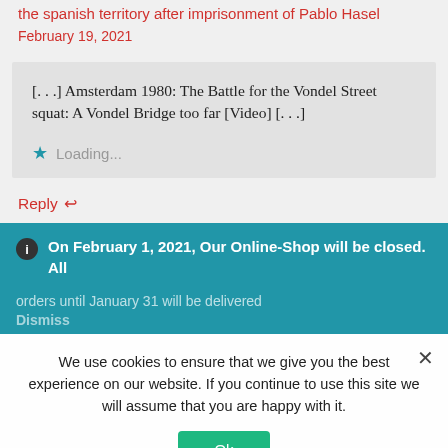the spanish territory after imprisonment of Pablo Hasel
February 19, 2021
[. . .] Amsterdam 1980: The Battle for the Vondel Street squat: A Vondel Bridge too far [Video] [. . .]
Loading...
Reply
On February 1, 2021, Our Online-Shop will be closed. All orders until January 31 will be delivered
Dismiss
We use cookies to ensure that we give you the best experience on our website. If you continue to use this site we will assume that you are happy with it.
Ok